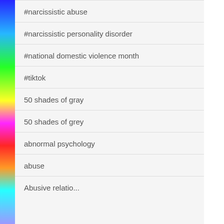#narcissistic abuse
#narcissistic personality disorder
#national domestic violence month
#tiktok
50 shades of gray
50 shades of grey
abnormal psychology
abuse
Abusive relationships